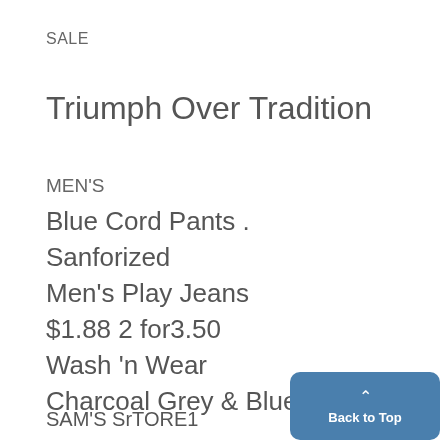SALE
Triumph Over Tradition
MEN'S
Blue Cord Pants .
Sanforized
Men's Play Jeans
$1.88 2 for3.50
Wash 'n Wear
Charcoal Grey & Blue
SAM'S SrTORE1
122 E. WASHINGTON ST.